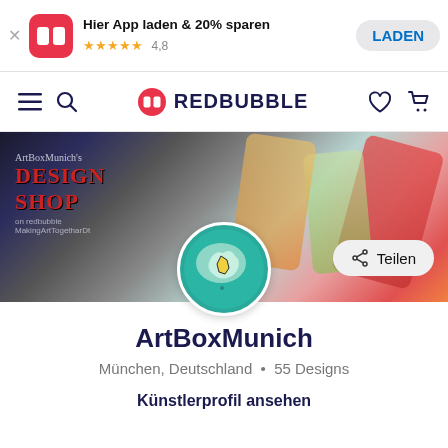[Figure (screenshot): App download banner for Redbubble mobile app with RB logo icon, title 'Hier App laden & 20% sparen', 5-star rating 4.8, and LADEN button]
[Figure (screenshot): Redbubble website navigation bar with hamburger menu, search icon, RB logo and REDBUBBLE brand name, heart and cart icons]
[Figure (photo): ArtBoxMunich banner image showing colorful paint jars and art supplies with overlaid text 'ArtBoxMunich's DESIGN SHOP on redbubble - MakingArtTogetharDt']
[Figure (logo): ArtBoxMunich circular profile avatar showing a stylized map/island design with teal background and yellow shape]
ArtBoxMunich
München, Deutschland • 55 Designs
Künstlerprofil ansehen